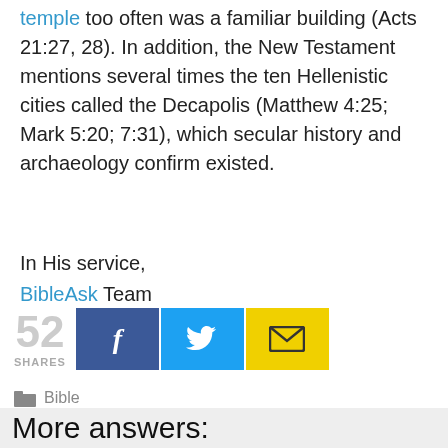temple too often was a familiar building (Acts 21:27, 28). In addition, the New Testament mentions several times the ten Hellenistic cities called the Decapolis (Matthew 4:25; Mark 5:20; 7:31), which secular history and archaeology confirm existed.
In His service,
BibleAsk Team
[Figure (infographic): Social sharing widget showing 52 shares, with Facebook (blue), Twitter (cyan), and Email (yellow) share buttons with respective icons]
Bible
More answers: